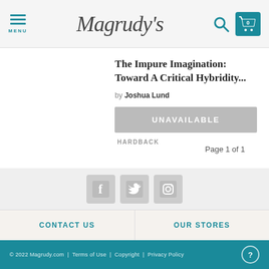MENU | Magrudy's
The Impure Imagination: Toward A Critical Hybridity...
by Joshua Lund
UNAVAILABLE
HARDBACK
Page 1 of 1
[Figure (logo): Social media icons: Facebook, Twitter, Instagram]
CONTACT US
OUR STORES
© 2022 Magrudy.com | Terms of Use | Copyright | Privacy Policy